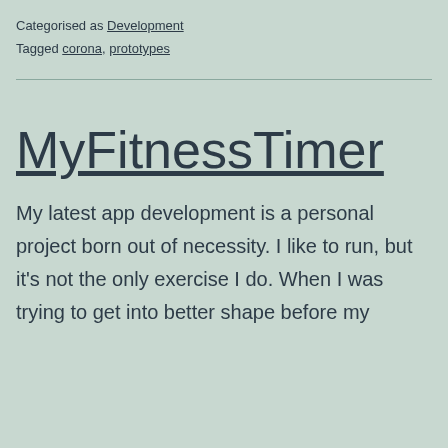Categorised as Development
Tagged corona, prototypes
MyFitnessTimer
My latest app development is a personal project born out of necessity. I like to run, but it's not the only exercise I do. When I was trying to get into better shape before my